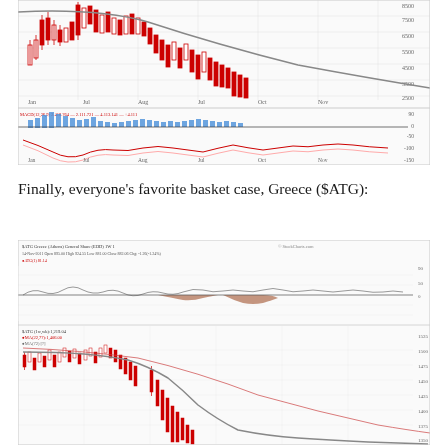[Figure (continuous-plot): Financial chart (top portion visible) showing a candlestick price chart with red/white candles and a declining curve, with a lower panel showing MACD indicator with blue histogram bars and red/pink signal lines. Y-axis shows values from approximately 1500 to 8000+. X-axis shows months from Jan through Nov.]
Finally, everyone’s favorite basket case, Greece ($ATG):
[Figure (continuous-plot): Financial chart for $ATG (Greece Athens General Index) showing a candlestick price chart with red candles in lower panel showing sharp decline, with gray moving average curves and a red trend line declining sharply. Upper panel shows a momentum/oscillator indicator with brownish-red filled areas indicating negative signals. Y-axis for lower panel shows values from approximately 995 to 1525. Chart labeled with OHLC data.]